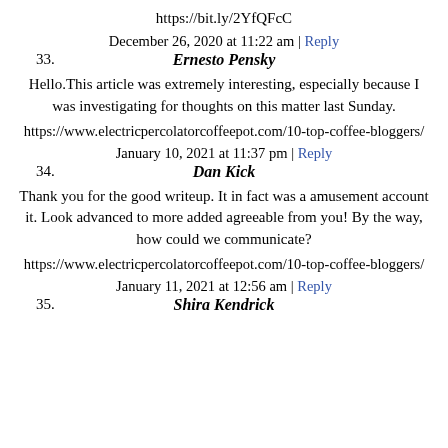https://bit.ly/2YfQFcC
December 26, 2020 at 11:22 am | Reply
33. Ernesto Pensky
Hello.This article was extremely interesting, especially because I was investigating for thoughts on this matter last Sunday.
https://www.electricpercolatorcoffeepot.com/10-top-coffee-bloggers/
January 10, 2021 at 11:37 pm | Reply
34. Dan Kick
Thank you for the good writeup. It in fact was a amusement account it. Look advanced to more added agreeable from you! By the way, how could we communicate?
https://www.electricpercolatorcoffeepot.com/10-top-coffee-bloggers/
January 11, 2021 at 12:56 am | Reply
35. Shira Kendrick